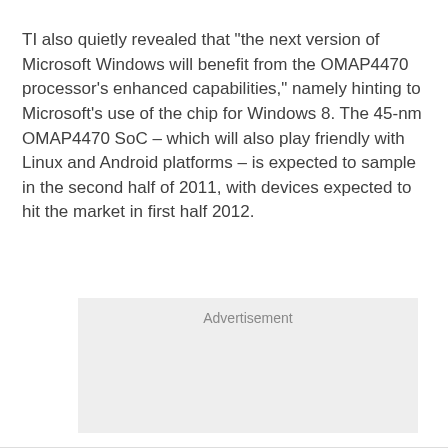TI also quietly revealed that "the next version of Microsoft Windows will benefit from the OMAP4470 processor's enhanced capabilities," namely hinting to Microsoft's use of the chip for Windows 8. The 45-nm OMAP4470 SoC – which will also play friendly with Linux and Android platforms – is expected to sample in the second half of 2011, with devices expected to hit the market in first half 2012.
[Figure (other): Advertisement placeholder box with light gray background and the label 'Advertisement' at the top center.]